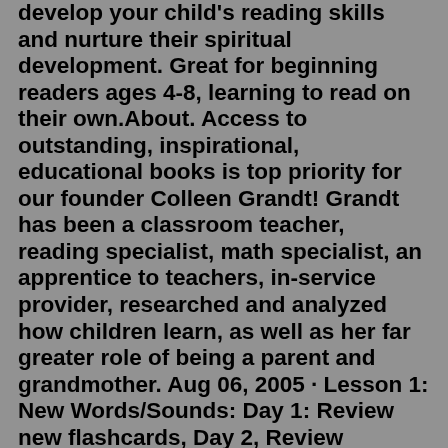develop your child's reading skills and nurture their spiritual development. Great for beginning readers ages 4-8, learning to read on their own.About. Access to outstanding, inspirational, educational books is top priority for our founder Colleen Grandt! Grandt has been a classroom teacher, reading specialist, math specialist, an apprentice to teachers, in-service provider, researched and analyzed how children learn, as well as her far greater role of being a parent and grandmother. Aug 06, 2005 · Lesson 1: New Words/Sounds: Day 1: Review new flashcards, Day 2, Review flashcards and learn additional words/sounds from activity book. Day 3, Review new words/sounds, and read the story preparation in activity book. Day 4, Review new words/sounds and read the new story. Yes, your child is only reading a story one out of every four days. When you sit down to read a book, you want to enjoy the story in front of you. The same is true for your child. That's why uncovering your child's reading level is an important step in fostering their love of words from a young age! Consider the